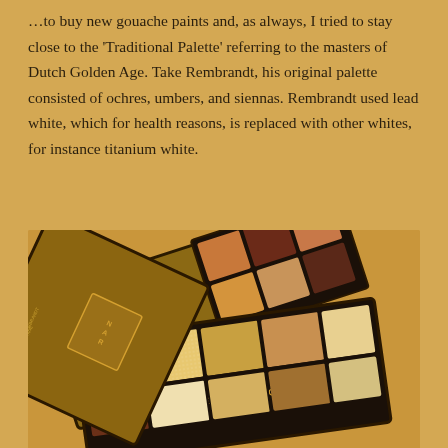...to buy new gouache paints and, as always, I tried to stay close to the 'Traditional Palette' referring to the masters of Dutch Golden Age. Take Rembrandt, his original palette consisted of ochres, umbers, and siennas. Rembrandt used lead white, which for health reasons, is replaced with other whites, for instance titanium white.
[Figure (photo): Two open makeup eyeshadow palettes labeled 'THE GOLDEN AGE' with warm earthy tones including golds, bronzes, browns, and neutrals, displayed on a golden ochre background.]